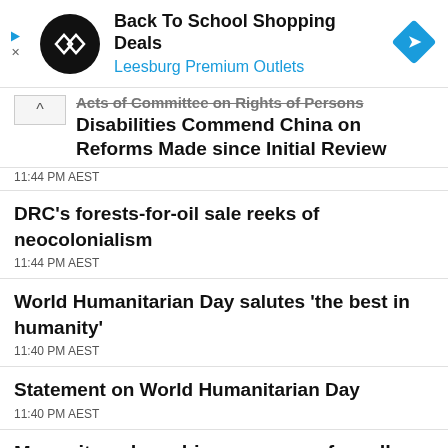[Figure (screenshot): Advertisement banner for Back To School Shopping Deals at Leesburg Premium Outlets, with a black circular logo with double arrow symbol on left and a blue diamond navigation arrow icon on right]
Acts of Committee on Rights of Persons with Disabilities Commend China on Reforms Made since Initial Review
11:44 PM AEST
DRC's forests-for-oil sale reeks of neocolonialism
11:44 PM AEST
World Humanitarian Day salutes 'the best in humanity'
11:40 PM AEST
Statement on World Humanitarian Day
11:40 PM AEST
Mosquitoes have bizarre sense of smell